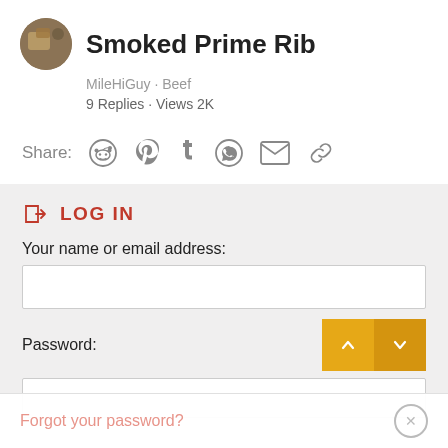Smoked Prime Rib
MileHiGuy · Beef
9 Replies · Views 2K
Share:
[Figure (screenshot): Share icons: Reddit, Pinterest, Tumblr, WhatsApp, Email, Link]
LOG IN
Your name or email address:
Password:
Forgot your password?